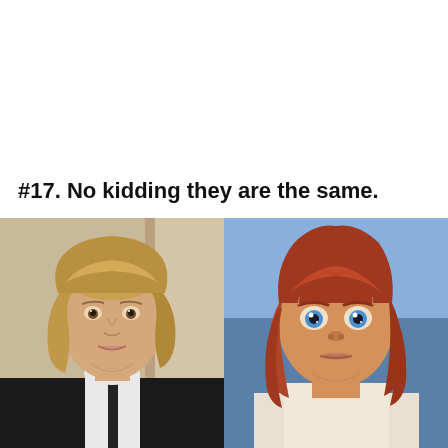#17. No kidding they are the same.
[Figure (photo): Side-by-side comparison of a young man with medium-length blonde/brown hair wearing a black suit and tie on the left, and a Disney animated character (Adam/Beast in human form from Beauty and the Beast) with reddish-brown hair and blue eyes on the right.]